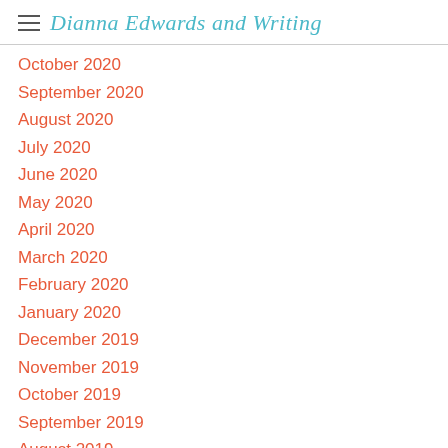Dianna Edwards and Writing
October 2020
September 2020
August 2020
July 2020
June 2020
May 2020
April 2020
March 2020
February 2020
January 2020
December 2019
November 2019
October 2019
September 2019
August 2019
July 2019
June 2019